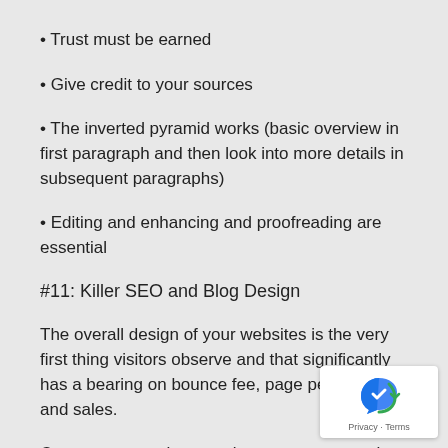• Trust must be earned
• Give credit to your sources
• The inverted pyramid works (basic overview in first paragraph and then look into more details in subsequent paragraphs)
• Editing and enhancing and proofreading are essential
#11: Killer SEO and Blog Design
The overall design of your websites is the very first thing visitors observe and that significantly has a bearing on bounce fee, page perspectives and sales.
Cyrus suggests that certain components on the site will incorporate into a blog's success:
• Search box